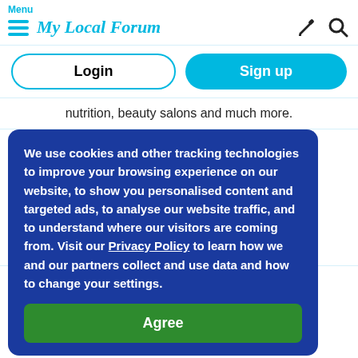Menu  My Local Forum
Login  Sign up
nutrition, beauty salons and much more.
We use cookies and other tracking technologies to improve your browsing experience on our website, to show you personalised content and targeted ads, to analyse our website traffic, and to understand where our visitors are coming from. Visit our Privacy Policy to learn how we and our partners collect and use data and how to change your settings.
Agree
Job search in United Kingdom
Searching for jobs in United Kingdom? Find job